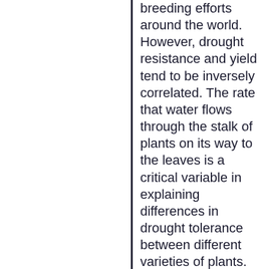breeding efforts around the world. However, drought resistance and yield tend to be inversely correlated. The rate that water flows through the stalk of plants on its way to the leaves is a critical variable in explaining differences in drought tolerance between different varieties of plants. However, current technologies for measuring the rate of this flow are bulky and can damage the